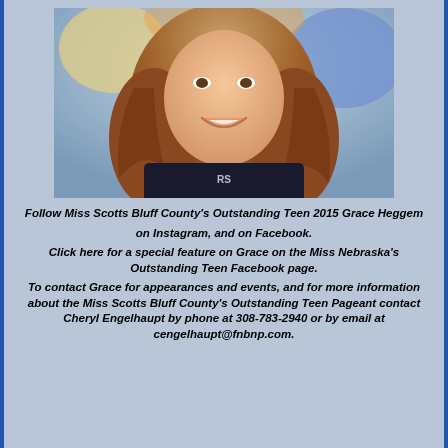[Figure (photo): Young woman with long wavy auburn/brown hair, smiling, wearing a dark shirt with lettering, appears to be at an outdoor event with colorful background.]
Follow Miss Scotts Bluff County's Outstanding Teen 2015 Grace Heggem
on Instagram, and on Facebook.
Click here for a special feature on Grace on the Miss Nebraska's Outstanding Teen Facebook page.
To contact Grace for appearances and events, and for more information about the Miss Scotts Bluff County's Outstanding Teen Pageant contact Cheryl Engelhaupt by phone at 308-783-2940 or by email at cengelhaupt@fnbnp.com.